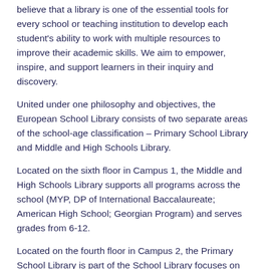believe that a library is one of the essential tools for every school or teaching institution to develop each student's ability to work with multiple resources to improve their academic skills. We aim to empower, inspire, and support learners in their inquiry and discovery.
United under one philosophy and objectives, the European School Library consists of two separate areas of the school-age classification – Primary School Library and Middle and High Schools Library.
Located on the sixth floor in Campus 1, the Middle and High Schools Library supports all programs across the school (MYP, DP of International Baccalaureate; American High School; Georgian Program) and serves grades from 6-12.
Located on the fourth floor in Campus 2, the Primary School Library is part of the School Library focuses on students of the Primary Years Program of the International Baccalaureate and Georgian Programs, Grades 1 to 5.